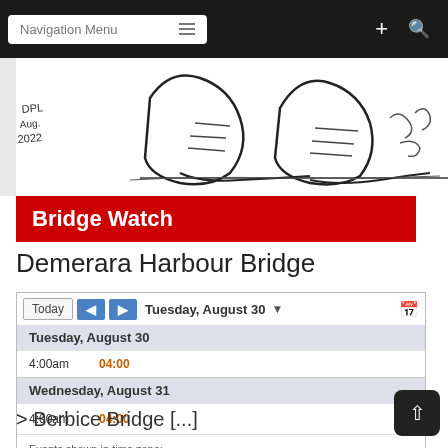Navigation Menu
[Figure (illustration): Black and white ink illustration showing feet/boots with handwritten signature DPL Aug 2022]
Bridge Watch
Demerara Harbour Bridge
[Figure (screenshot): Google Calendar widget showing Tuesday, August 30 with event at 4:00am (04:00) and Wednesday, August 31 with event at 4:00am (04:00). Events shown in time zone: Guyana Time]
> Berbice Bridge [...]